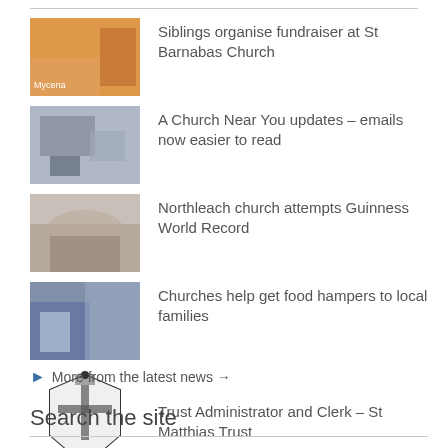Siblings organise fundraiser at St Barnabas Church
A Church Near You updates – emails now easier to read
Northleach church attempts Guinness World Record
Churches help get food hampers to local families
Trust Administrator and Clerk – St Matthias Trust
More from the latest news →
Search the site